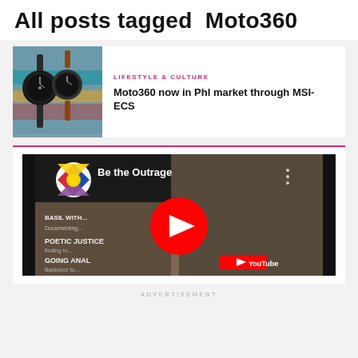All posts tagged  Moto360
LIFESTYLE & CULTURE
Moto360 now in Phl market through MSI-ECS
[Figure (photo): Photo of two Moto360 smartwatches on colorful background]
[Figure (screenshot): YouTube video embed titled 'Be the Outrage' with Philippine flag logo]
ADVERTISEMENT